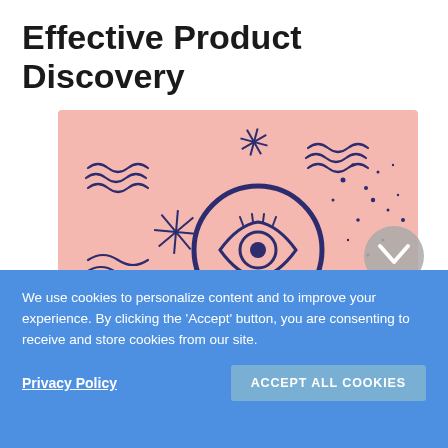Effective Product Discovery
[Figure (illustration): Pink background illustration of a hand holding a magnifying glass with an eye inside, surrounded by stars, wavy lines, and scattered dots in dark navy/purple.]
We use cookies to personalize content and to improve your experience. By clicking the 'Accept' button, you are consenting to receive and store cookies from our site.
Privacy Policy
ACCEPT ALL COOKIES